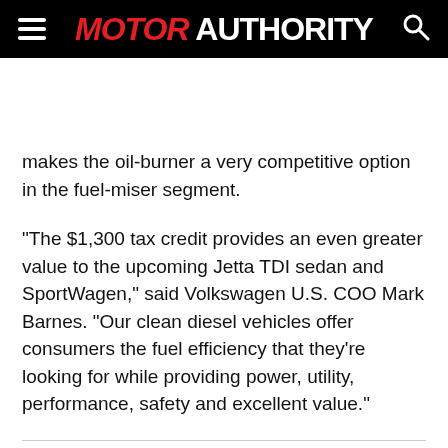MOTOR AUTHORITY
makes the oil-burner a very competitive option in the fuel-miser segment.
“The $1,300 tax credit provides an even greater value to the upcoming Jetta TDI sedan and SportWagen,” said Volkswagen U.S. COO Mark Barnes. “Our clean diesel vehicles offer consumers the fuel efficiency that they’re looking for while providing power, utility, performance, safety and excellent value.”
TAGS